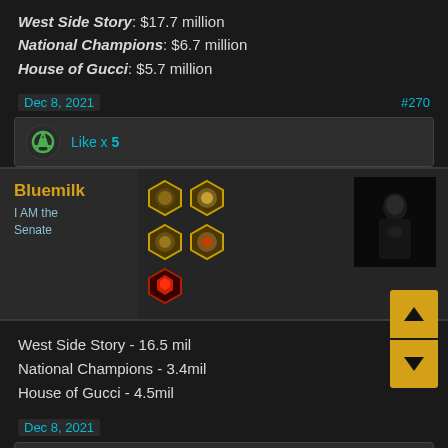West Side Story: $17.7 million
National Champions: $6.7 million
House of Gucci: $5.7 million
Dec 8, 2021
#270
Like x 5
Bluemilk
I AM the Senate
[Figure (illustration): Forum user profile area with hexagonal badge icons and a dark movie screenshot showing a robed figure]
West Side Story - 16.5 mil
National Champions - 3.4mil
House of Gucci - 4.5mil
Dec 8, 2021
Like x 5